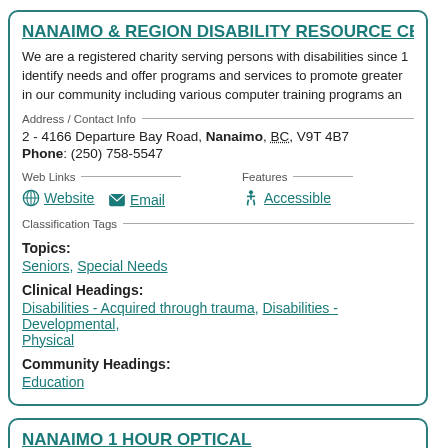NANAIMO & REGION DISABILITY RESOURCE CE...
We are a registered charity serving persons with disabilities since 19... identify needs and offer programs and services to promote greater... in our community including various computer training programs an...
Address / Contact Info
2 - 4166 Departure Bay Road, Nanaimo, BC, V9T 4B7
Phone: (250) 758-5547
Web Links
Website  Email
Features
Accessible
Classification Tags
Topics:
Seniors, Special Needs
Clinical Headings:
Disabilities - Acquired through trauma, Disabilities - Developmental, Physical
Community Headings:
Education
NANAIMO 1 HOUR OPTICAL